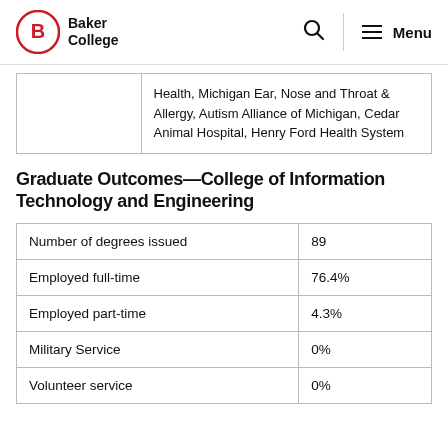Baker College
|  | Health, Michigan Ear, Nose and Throat & Allergy, Autism Alliance of Michigan, Cedar Animal Hospital, Henry Ford Health System |
Graduate Outcomes—College of Information Technology and Engineering
| Number of degrees issued | 89 |
| Employed full-time | 76.4% |
| Employed part-time | 4.3% |
| Military Service | 0% |
| Volunteer service | 0% |